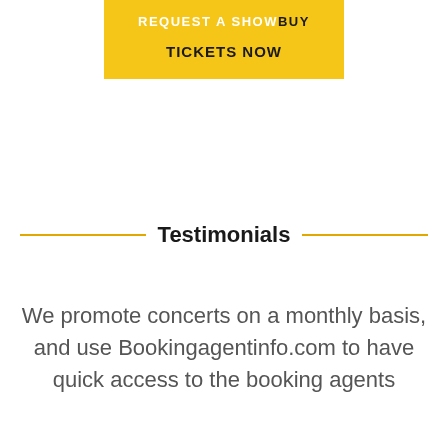[Figure (other): Yellow/gold button with text 'REQUEST A SHOW BUY TICKETS NOW']
Testimonials
We promote concerts on a monthly basis, and use Bookingagentinfo.com to have quick access to the booking agents